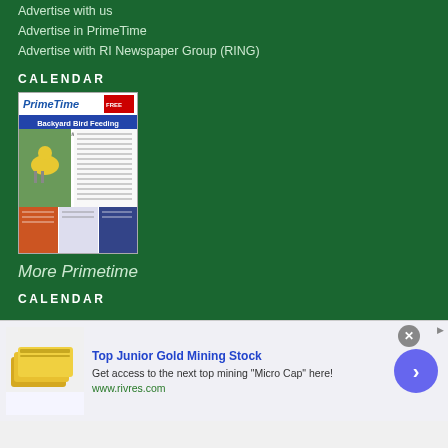Advertise with us
Advertise in PrimeTime
Advertise with RI Newspaper Group (RING)
CALENDAR
[Figure (photo): PrimeTime magazine cover featuring 'Backyard Bird Feeding – A Family Tradition' with a yellow bird on a branch and multiple article sections below]
More Primetime
CALENDAR
[Figure (screenshot): Advertisement banner: 'Top Junior Gold Mining Stock – Get access to the next top mining Micro Cap here! www.rivres.com' with gold bar image and arrow button]